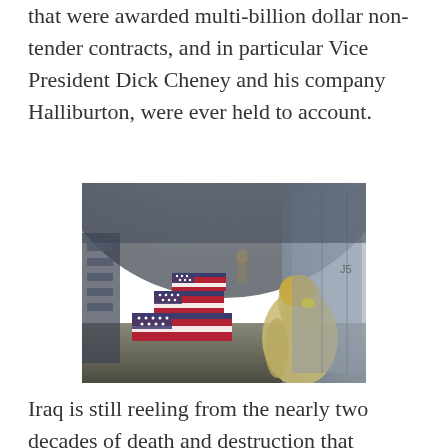that were awarded multi-billion dollar non-tender contracts, and in particular Vice President Dick Cheney and his company Halliburton, were ever held to account.
[Figure (photo): Interior of a military cargo aircraft showing multiple flag-draped coffins (caskets) lined up in rows, with military personnel attending. A soldier with a yellow hair tie is visible in the foreground.]
Iraq is still reeling from the nearly two decades of death and destruction that followed the ill-fated Iraq invasion of